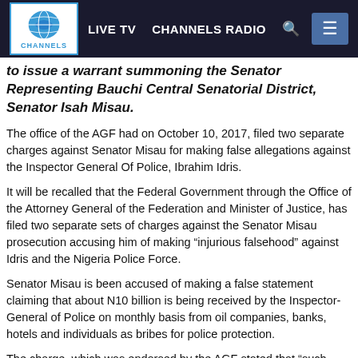LIVE TV  CHANNELS RADIO
to issue a warrant summoning the Senator Representing Bauchi Central Senatorial District, Senator Isah Misau.
The office of the AGF had on October 10, 2017, filed two separate charges against Senator Misau for making false allegations against the Inspector General Of Police, Ibrahim Idris.
It will be recalled that the Federal Government through the Office of the Attorney General of the Federation and Minister of Justice, has filed two separate sets of charges against the Senator Misau prosecution accusing him of making “injurious falsehood” against Idris and the Nigeria Police Force.
Senator Misau is been accused of making a false statement claiming that about N10 billion is being received by the Inspector-General of Police on monthly basis from oil companies, banks, hotels and individuals as bribes for police protection.
The charge, which was endorsed by the AGF stated that “such false statement of fact would harm the reputation of Mr Ibrahim Idris, the serving Inspector-General of Police, the Nigeria Police Force and the Police Service Commission.